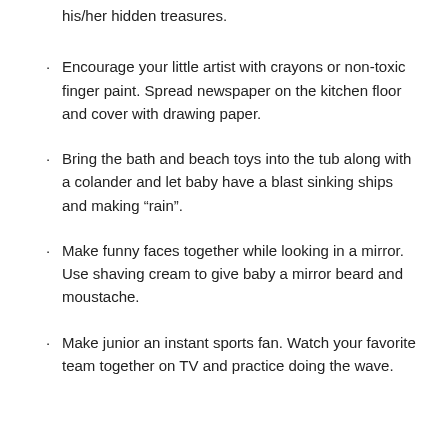his/her hidden treasures.
Encourage your little artist with crayons or non-toxic finger paint. Spread newspaper on the kitchen floor and cover with drawing paper.
Bring the bath and beach toys into the tub along with a colander and let baby have a blast sinking ships and making “rain”.
Make funny faces together while looking in a mirror. Use shaving cream to give baby a mirror beard and moustache.
Make junior an instant sports fan. Watch your favorite team together on TV and practice doing the wave.